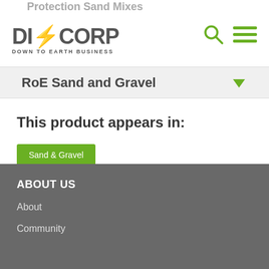DICORP DOWN TO EARTH BUSINESS
RoE Sand and Gravel
This product appears in:
Sand & Gravel
ABOUT US About Community